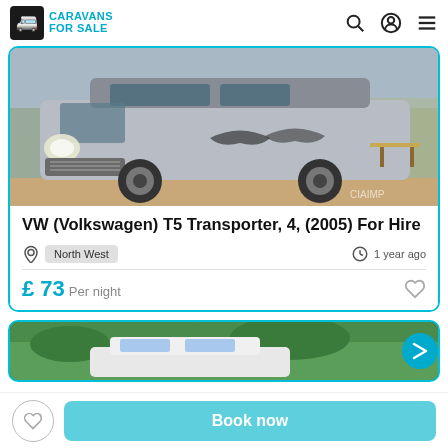CARAVANS FOR SALE
[Figure (photo): Silver VW T5 Transporter van parked in a yard, with a table and chairs visible in the background]
VW (Volkswagen) T5 Transporter, 4, (2005) For Hire
North West · 1 year ago
£ 73 Per night
[Figure (photo): Partial view of a second vehicle listing showing a white caravan/vehicle in green surroundings]
Book now